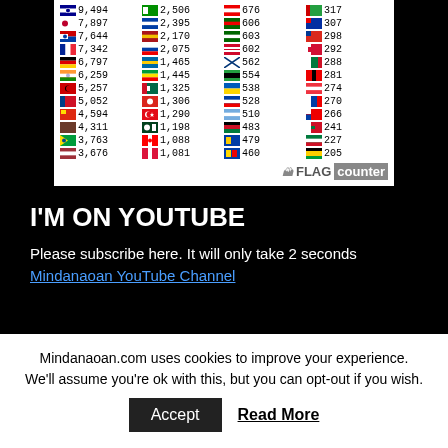[Figure (table-as-image): Flag counter widget showing country flags with visitor counts in 4 columns. Countries include Australia 9494, Japan 7897, Malaysia 7644, France 7342, Germany 6797, India 6259, South Korea 5257, Taiwan 5052, China 4594, Brazil 4311 (brown flag), Brazil 3763, Latvia 3676, Ireland 2506, Australia 2395, Spain 2170, Russia 2075, Nigeria 1465, Sweden 1445, Mexico 1325, Vietnam 1306, Turkey 1290, Pakistan 1198, Switzerland 1088, Poland 1081, Austria 676, Portugal 606, Belarus/Georgia 603, Venezuela 602, Greece 562, India 554, Ukraine 538, Norway 528, Argentina 510, Zimbabwe/Kenya 483, Cambodia/unknown 479, EU 460, Iran 317, Cambodia 307, Ghana 298, Chile 292, Slovakia 288, Iraq/unknown 281, Turkmenistan 274, China/unknown 270, Croatia 266, Jordan 241, Lebanon 227, Jamaica 205]
I'M ON YOUTUBE
Please subscribe here. It will only take 2 seconds
Mindanaoan YouTube Channel
Mindanaoan.com uses cookies to improve your experience. We'll assume you're ok with this, but you can opt-out if you wish.